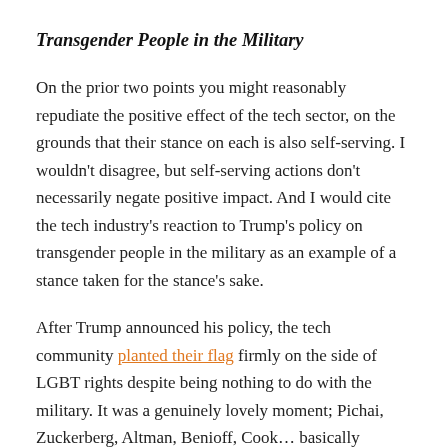Transgender People in the Military
On the prior two points you might reasonably repudiate the positive effect of the tech sector, on the grounds that their stance on each is also self-serving. I wouldn't disagree, but self-serving actions don't necessarily negate positive impact. And I would cite the tech industry's reaction to Trump's policy on transgender people in the military as an example of a stance taken for the stance's sake.
After Trump announced his policy, the tech community planted their flag firmly on the side of LGBT rights despite being nothing to do with the military. It was a genuinely lovely moment; Pichai, Zuckerberg, Altman, Benioff, Cook... basically between 10am and 2pm pretty